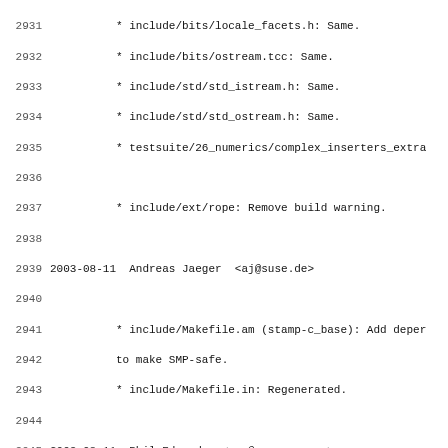2931-2962 changelog lines showing git/CVS log entries for GCC libstdc++ including authors Andreas Jaeger, Phil Edwards, Benjamin Kosnik and file changes
2931: * include/bits/locale_facets.h: Same.
2932: * include/bits/ostream.tcc: Same.
2933: * include/std/std_istream.h: Same.
2934: * include/std/std_ostream.h: Same.
2935: * testsuite/26_numerics/complex_inserters_extra
2937: * include/ext/rope: Remove build warning.
2939 2003-08-11  Andreas Jaeger  <aj@suse.de>
2941: * include/Makefile.am (stamp-c_base): Add depen
2942: to make SMP-safe.
2943: * include/Makefile.in: Regenerated.
2945 2003-08-11  Phil Edwards  <pme@gcc.gnu.org>
2947: * acinclude.m4 (GLIBCXX_CONFIGURE): Unprecious
2948: when calling AC_PROG_CC.
2949: * aclocal.m4, configure:  Regenerate.
2951 2003-08-11  Phil Edwards  <pme@gcc.gnu.org>
2953: * acinclude.m4:  Properly quote variable which
2954: inside makefiles.  Use CXX instead of CC to ext
2955: * configure.ac (AC_INIT):  Use the new 4-arg fo
2956: correct form in PACKAGE.
2957: * aclocal.m4, configure:  Regenerate.
2959 2003-08-08  Benjamin Kosnik  <bkoz@redhat.com>
2961: * testsuite/Makefile.am (check-abi): Change lib
2962: (check-abi-verbose): Same.